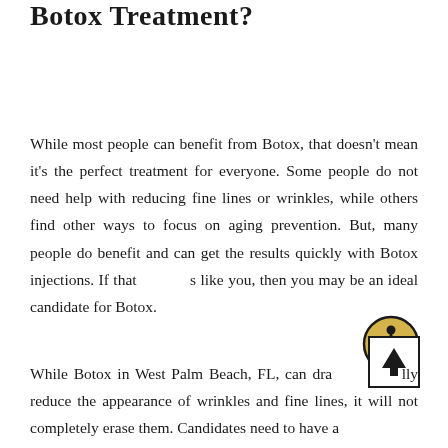Botox Treatment?
While most people can benefit from Botox, that doesn't mean it's the perfect treatment for everyone. Some people do not need help with reducing fine lines or wrinkles, while others find other ways to focus on aging prevention. But, many people do benefit and can get the results quickly with Botox injections. If that sounds like you, then you may be an ideal candidate for Botox.
While Botox in West Palm Beach, FL, can dramatically reduce the appearance of wrinkles and fine lines, it will not completely erase them. Candidates need to have a